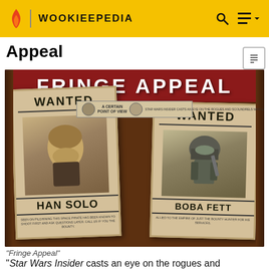WOOKIEEPEDIA
Appeal
[Figure (photo): Photo of a 'Fringe Appeal' spread featuring two Star Wars wanted posters — one for Han Solo and one for Boba Fett — on a weathered background. A 'A Certain Point of View' section header is visible in the center top of the image.]
"Fringe Appeal"
"Star Wars Insider casts an eye on the rogues and